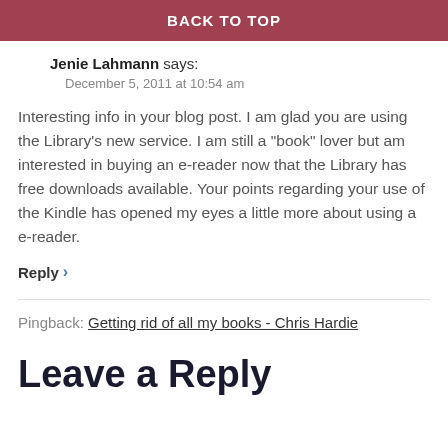BACK TO TOP
Jenie Lahmann says:
December 5, 2011 at 10:54 am
Interesting info in your blog post. I am glad you are using the Library's new service. I am still a "book" lover but am interested in buying an e-reader now that the Library has free downloads available. Your points regarding your use of the Kindle has opened my eyes a little more about using a e-reader.
Reply ›
Pingback: Getting rid of all my books - Chris Hardie
Leave a Reply